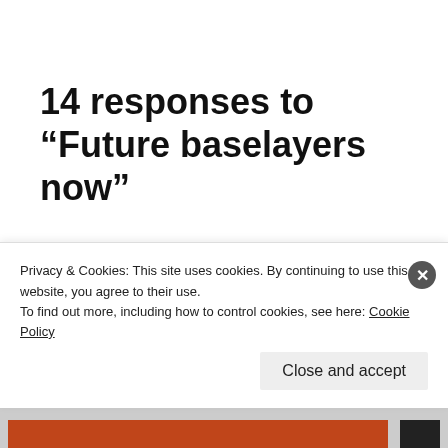14 responses to “Future baselayers now”
Mike Moore (@bigskyrun)
March 26, 2016 at 9:53 pm
Privacy & Cookies: This site uses cookies. By continuing to use this website, you agree to their use.
To find out more, including how to control cookies, see here: Cookie Policy